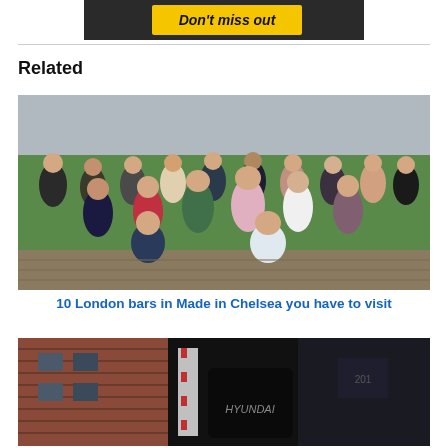[Figure (photo): Ad banner with yellow background and text 'Don't miss out']
Related
[Figure (photo): Group photo of Made in Chelsea TV show cast on a rooftop in London]
10 London bars in Made in Chelsea you have to visit
[Figure (photo): Street scene photo showing buildings and signage at night]